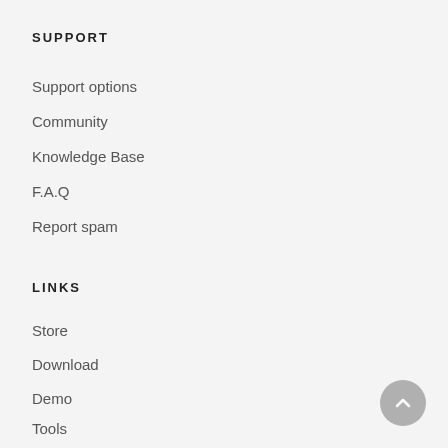SUPPORT
Support options
Community
Knowledge Base
F.A.Q
Report spam
LINKS
Store
Download
Demo
Tools
Hosted MailWizz